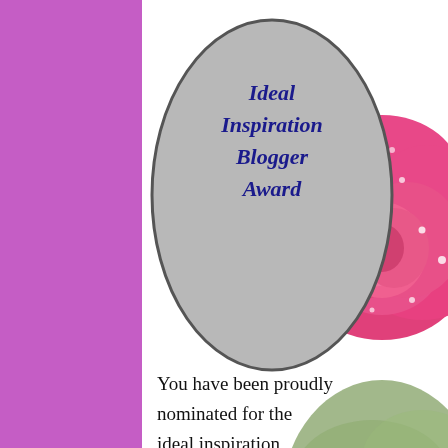[Figure (illustration): Award badge image showing a gray oval with 'Ideal Inspiration Blogger Award' text in dark blue italic bold font on the left, and a pink rose with water droplets on the right. Below the oval reads 'You have been proudly nominated for the ideal inspiration Blogger Award' in black serif text. Background is white.]
Ideal Inspiration Blogger Award 7.11.2020